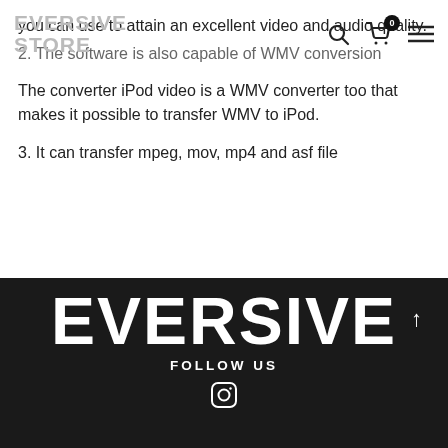EVERSIVE STORE
you can use to attain an excellent video and audio quality.
2. The software is also capable of WMV conversion
The converter iPod video is a WMV converter too that makes it possible to transfer WMV to iPod.
3. It can transfer mpeg, mov, mp4 and asf file
EVERSIVE
FOLLOW US